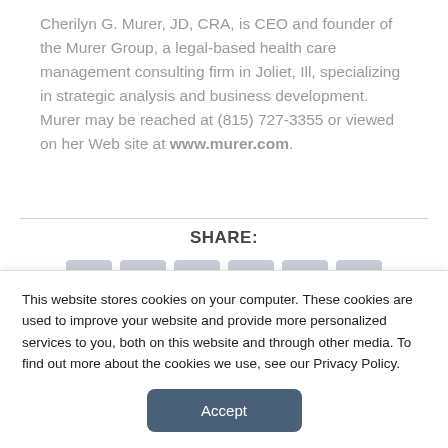Cherilyn G. Murer, JD, CRA, is CEO and founder of the Murer Group, a legal-based health care management consulting firm in Joliet, Ill, specializing in strategic analysis and business development. Murer may be reached at (815) 727-3355 or viewed on her Web site at www.murer.com.
SHARE:
[Figure (other): Row of six share/social media buttons rendered as grey rounded rectangles]
This website stores cookies on your computer. These cookies are used to improve your website and provide more personalized services to you, both on this website and through other media. To find out more about the cookies we use, see our Privacy Policy.